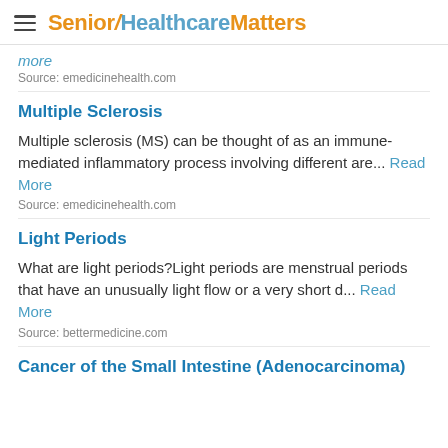Senior HealthcareMatters
more
Source: emedicinehealth.com
Multiple Sclerosis
Multiple sclerosis (MS) can be thought of as an immune-mediated inflammatory process involving different are... Read More
Source: emedicinehealth.com
Light Periods
What are light periods?Light periods are menstrual periods that have an unusually light flow or a very short d... Read More
Source: bettermedicine.com
Cancer of the Small Intestine (Adenocarcinoma)